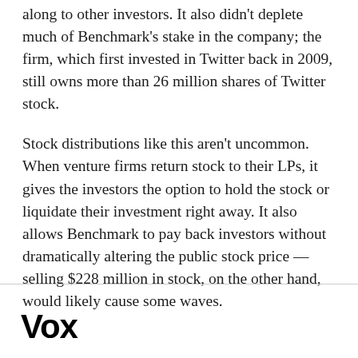along to other investors. It also didn't deplete much of Benchmark's stake in the company; the firm, which first invested in Twitter back in 2009, still owns more than 26 million shares of Twitter stock.
Stock distributions like this aren't uncommon. When venture firms return stock to their LPs, it gives the investors the option to hold the stock or liquidate their investment right away. It also allows Benchmark to pay back investors without dramatically altering the public stock price — selling $228 million in stock, on the other hand, would likely cause some waves.
[Figure (logo): Vox logo in bold black sans-serif text]